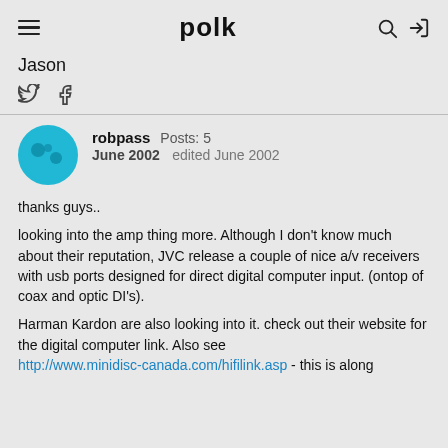polk
Jason
robpass  Posts: 5  June 2002  edited June 2002
thanks guys..
looking into the amp thing more. Although I don't know much about their reputation, JVC release a couple of nice a/v receivers with usb ports designed for direct digital computer input. (ontop of coax and optic DI's).
Harman Kardon are also looking into it. check out their website for the digital computer link. Also see http://www.minidisc-canada.com/hifilink.asp - this is along